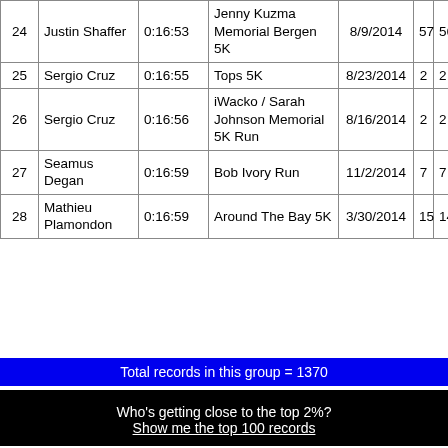| # | Name | Time | Race | Date |  |  |
| --- | --- | --- | --- | --- | --- | --- |
| 24 | Justin Shaffer | 0:16:53 | Jenny Kuzma Memorial Bergen 5K | 8/9/2014 | 57 | 56 |
| 25 | Sergio Cruz | 0:16:55 | Tops 5K | 8/23/2014 | 2 | 2 |
| 26 | Sergio Cruz | 0:16:56 | iWacko / Sarah Johnson Memorial 5K Run | 8/16/2014 | 2 | 2 |
| 27 | Seamus Degan | 0:16:59 | Bob Ivory Run | 11/2/2014 | 7 | 7 |
| 28 | Mathieu Plamondon | 0:16:59 | Around The Bay 5K | 3/30/2014 | 15 | 14 |
Total records in this group = 1370
Who's getting close to the top 2%? Show me the top 100 records